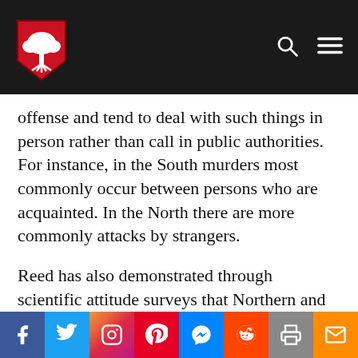University website header with logo and navigation icons
offense and tend to deal with such things in person rather than call in public authorities. For instance, in the South murders most commonly occur between persons who are acquainted. In the North there are more commonly attacks by strangers.
Reed has also demonstrated through scientific attitude surveys that Northern and Southern students at the
Social share bar: Facebook, Twitter, Instagram, Pinterest, Messenger, Reddit, Print, Email